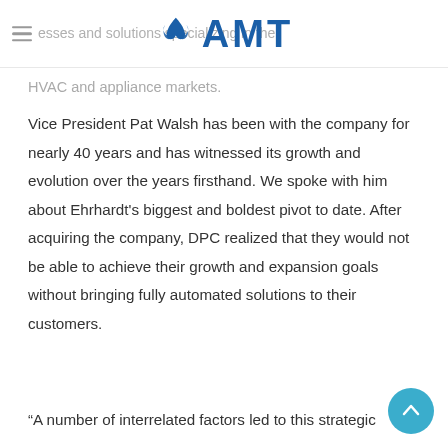AMT logo header
esses and solutions specializing in the HVAC and appliance markets.
Vice President Pat Walsh has been with the company for nearly 40 years and has witnessed its growth and evolution over the years firsthand. We spoke with him about Ehrhardt's biggest and boldest pivot to date. After acquiring the company, DPC realized that they would not be able to achieve their growth and expansion goals without bringing fully automated solutions to their customers.
“A number of interrelated factors led to this strategic